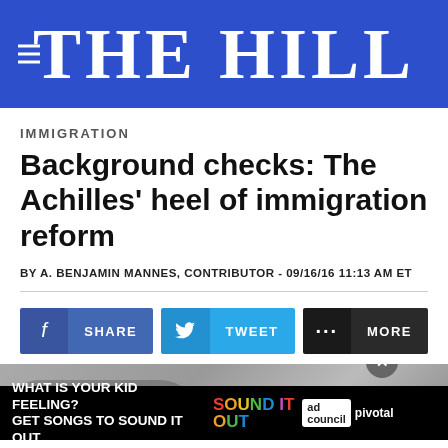THE HILL
IMMIGRATION
Background checks: The Achilles' heel of immigration reform
BY A. BENJAMIN MANNES, CONTRIBUTOR - 09/16/16 11:13 AM ET
[Figure (other): Social share buttons: Facebook SHARE, Twitter TWEET, and MORE buttons]
[Figure (other): Advertisement banner: WHAT IS YOUR KID FEELING? GET SONGS TO SOUND IT OUT. Sound It Out, ad council, pivotal]